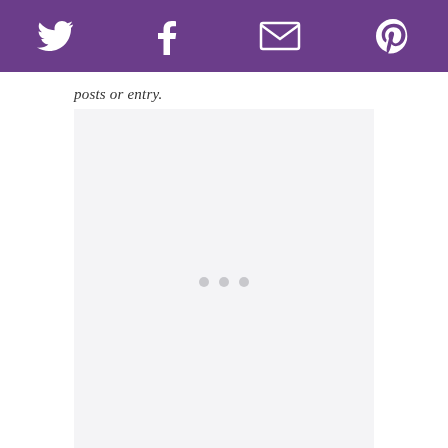[Figure (other): Purple navigation bar with four social media icons: Twitter bird, Facebook f, envelope/email, and Pinterest p]
posts or entry.
[Figure (other): Light gray content area with three loading dots centered in the middle]